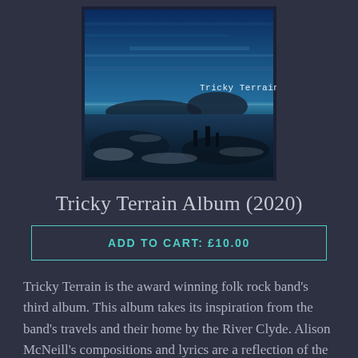[Figure (illustration): Album cover for Tricky Terrain (2020) showing a blue-toned landscape painting with hills, water and the text 'Tricky Terrain' in white lettering]
Tricky Terrain Album (2020)
ADD TO CART: £10.00
Tricky Terrain is the award winning folk rock band's third album. This album takes its inspiration from the band's travels and their home by the River Clyde. Alison McNeill's compositions and lyrics are a reflection of the landscape, the people, the light and the water. New works are supported by